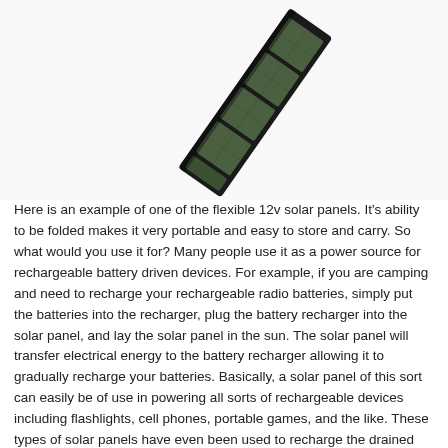[Figure (photo): A flexible 12v solar panel shown at an angle, with multiple green/grey cells arranged in a strip on a dark folding backing, photographed against a white background.]
Here is an example of one of the flexible 12v solar panels. It's ability to be folded makes it very portable and easy to store and carry. So what would you use it for? Many people use it as a power source for rechargeable battery driven devices. For example, if you are camping and need to recharge your rechargeable radio batteries, simply put the batteries into the recharger, plug the battery recharger into the solar panel, and lay the solar panel in the sun. The solar panel will transfer electrical energy to the battery recharger allowing it to gradually recharge your batteries. Basically, a solar panel of this sort can easily be of use in powering all sorts of rechargeable devices including flashlights, cell phones, portable games, and the like. These types of solar panels have even been used to recharge the drained batteries of a car.